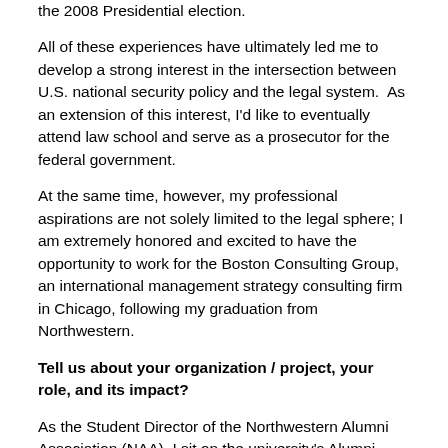the 2008 Presidential election.
All of these experiences have ultimately led me to develop a strong interest in the intersection between U.S. national security policy and the legal system.  As an extension of this interest, I'd like to eventually attend law school and serve as a prosecutor for the federal government.
At the same time, however, my professional aspirations are not solely limited to the legal sphere; I am extremely honored and excited to have the opportunity to work for the Boston Consulting Group, an international management strategy consulting firm in Chicago, following my graduation from Northwestern.
Tell us about your organization / project, your role, and its impact?
As the Student Director of the Northwestern Alumni Association (NAA), I sit on the university's Alumni Board as the direct liaison between the Northwestern undergraduate student body and its representative alumni organization. As many would say, I serve as